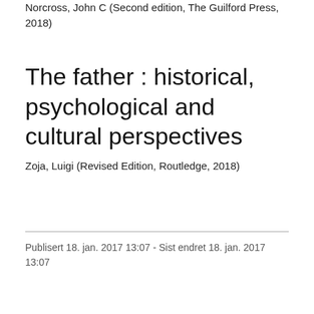Norcross, John C (Second edition, The Guilford Press, 2018)
The father : historical, psychological and cultural perspectives
Zoja, Luigi (Revised Edition, Routledge, 2018)
Publisert 18. jan. 2017 13:07 - Sist endret 18. jan. 2017 13:07